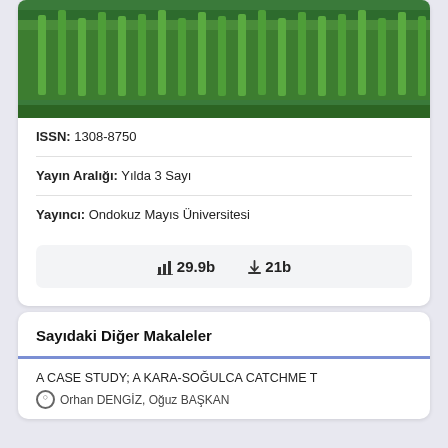[Figure (photo): Journal cover image showing green wheat or grain crops in a field]
ISSN: 1308-8750
Yayın Aralığı: Yılda 3 Sayı
Yayıncı: Ondokuz Mayıs Üniversitesi
29.9b  21b
Sayıdaki Diğer Makaleler
A CASE STUDY; A KARA-SOĞULCA CATCHME T
Orhan DENGİZ, Oğuz BAŞKAN